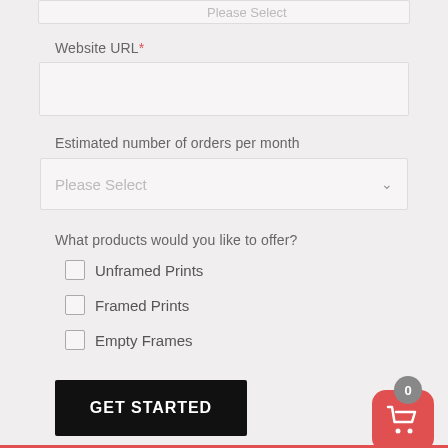Please Select
Website URL*
Estimated number of orders per month
Please Select
What products would you like to offer?
Unframed Prints
Framed Prints
Empty Frames
GET STARTED
[Figure (illustration): Shopping cart icon in red rounded square button with badge showing 0]